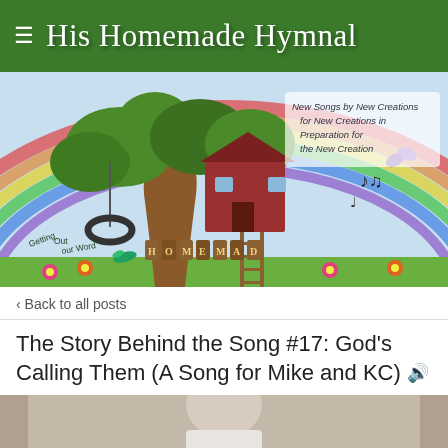His Homemade Hymnal
[Figure (illustration): Colorful illustrated banner showing a treehouse in a large tree with a rainbow background, musical notes, flowers, birds, and handmade-style wooden letters spelling 'Homemade Hymnal'. Text in upper right reads: 'New Songs by New Creations for New Creations in Preparation for the New Creation'. Bottom left reads 'Getting our Word Out'.]
‹ Back to all posts
The Story Behind the Song #17: God's Calling Them (A Song for Mike and KC) 🔊
[Figure (photo): A partial photograph showing a person (appears to be a man) in a white shirt, cropped at the bottom of the page, with a sepia/muted tone background.]